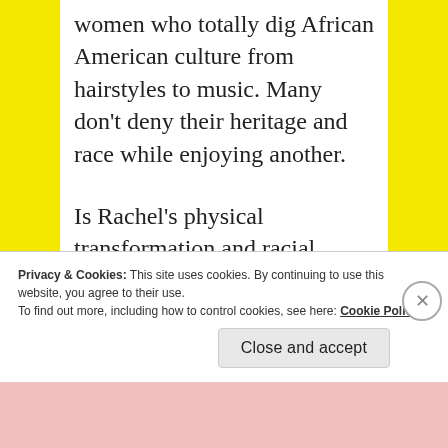women who totally dig African American culture from hairstyles to music. Many don't deny their heritage and race while enjoying another.

Is Rachel's physical transformation and racial identity change a result of a young woman who grew up with a strong admiration for African
Privacy & Cookies: This site uses cookies. By continuing to use this website, you agree to their use.
To find out more, including how to control cookies, see here: Cookie Policy
Close and accept